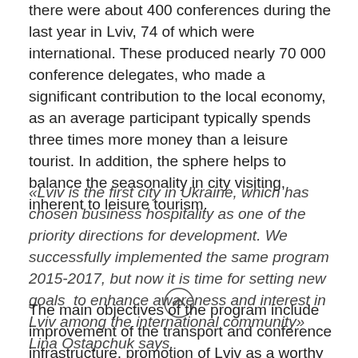there were about 400 conferences during the last year in Lviv, 74 of which were international. These produced nearly 70 000 conference delegates, who made a significant contribution to the local economy, as an average participant typically spends three times more money than a leisure tourist. In addition, the sphere helps to balance the seasonality in city visiting, inherent to leisure tourism.
«Lviv is the first city in Ukraine, which has chosen business hospitality as one of the priority directions for development. We successfully implemented the same program 2015-2017, but now it is time for setting new goals to enhance awareness and interest in Lviv among the international community» Lina Ostapchuk says.
The main objectives of the program include improvement of the transport and conference infrastructure, promotion of Lviv as a worthy participant on the business events